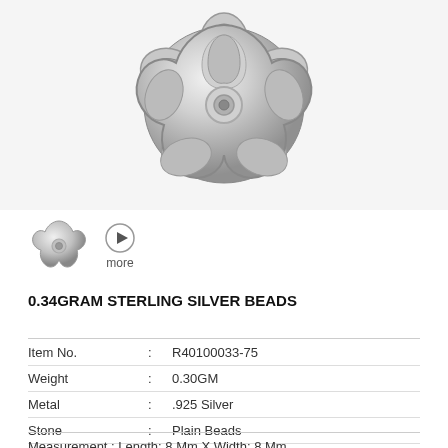[Figure (photo): Silver flower-shaped bead cap, top view, showing five petal openings and center hole, shiny metallic sterling silver finish]
[Figure (photo): Small thumbnail of same silver flower bead cap from top-down angle]
[Figure (other): Play/more button icon with right-pointing triangle in circle, labeled 'more']
0.34GRAM STERLING SILVER BEADS
| Item No. | : | R40100033-75 |
| Weight | : | 0.30GM |
| Metal | : | .925 Silver |
| Stone | : | Plain Beads |
Measurement : Length: 8 Mm X Width: 8 Mm